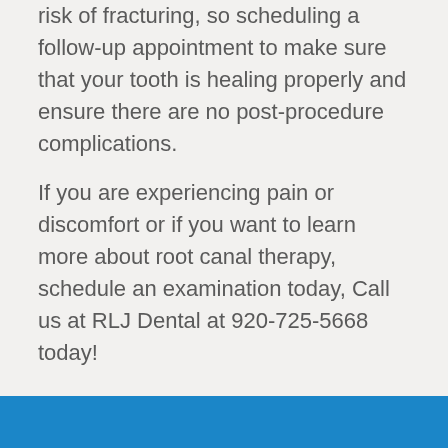risk of fracturing, so scheduling a follow-up appointment to make sure that your tooth is healing properly and ensure there are no post-procedure complications.
If you are experiencing pain or discomfort or if you want to learn more about root canal therapy, schedule an examination today, Call us at RLJ Dental at 920-725-5668 today!